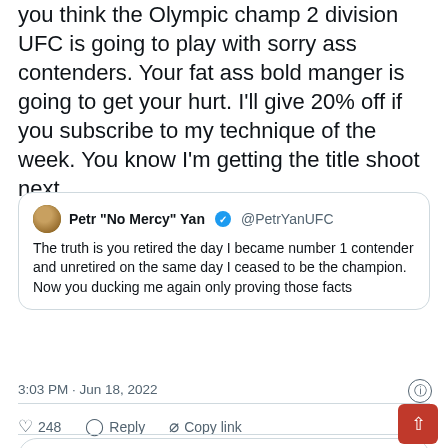you think the Olympic champ 2 division UFC is going to play with sorry ass contenders. Your fat ass bold manger is going to get your hurt. I'll give 20% off if you subscribe to my technique of the week. You know I'm getting the title shoot next
Petr "No Mercy" Yan @PetrYanUFC
The truth is you retired the day I became number 1 contender and unretired on the same day I ceased to be the champion. Now you ducking me again only proving those facts
3:03 PM · Jun 18, 2022
248  Reply  Copy link
Read 26 replies